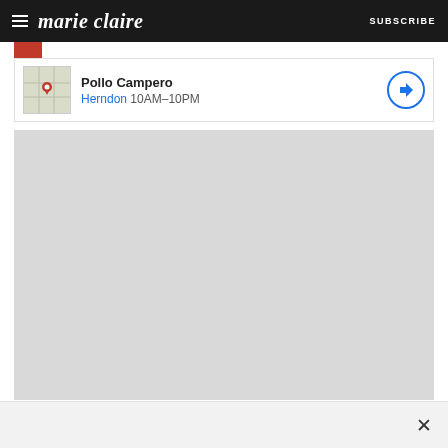marie claire  SUBSCRIBE
[Figure (screenshot): Google Maps search result card showing Pollo Campero in Herndon, 10AM-10PM, with a map thumbnail and direction button]
[Figure (map): Embedded Google Maps view showing a gray map area]
[Figure (other): Bottom advertisement bar with close (X) button]